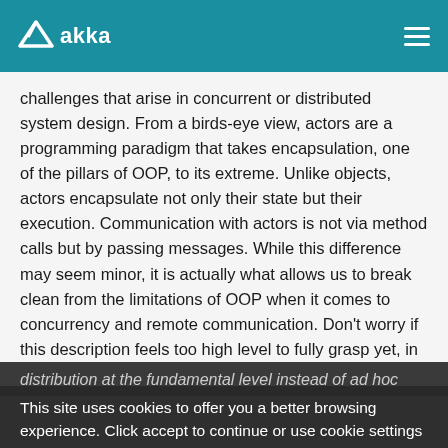akka
challenges that arise in concurrent or distributed system design. From a birds-eye view, actors are a programming paradigm that takes encapsulation, one of the pillars of OOP, to its extreme. Unlike objects, actors encapsulate not only their state but their execution. Communication with actors is not via method calls but by passing messages. While this difference may seem minor, it is actually what allows us to break clean from the limitations of OOP when it comes to concurrency and remote communication. Don't worry if this description feels too high level to fully grasp yet, in the next chapter we will explain actors in detail. For now, the important point is that this is a model that handles concurrency and
distribution at the fundamental level instead of ad hoc
This site uses cookies to offer you a better browsing experience. Click accept to continue or use cookie settings to activate/deactivate specific types of cookies.